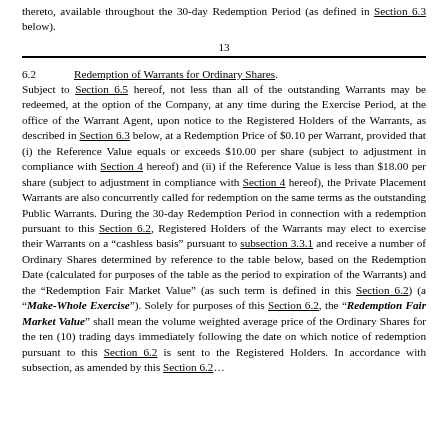thereto, available throughout the 30-day Redemption Period (as defined in Section 6.3 below).
13
6.2    Redemption of Warrants for Ordinary Shares.
Subject to Section 6.5 hereof, not less than all of the outstanding Warrants may be redeemed, at the option of the Company, at any time during the Exercise Period, at the office of the Warrant Agent, upon notice to the Registered Holders of the Warrants, as described in Section 6.3 below, at a Redemption Price of $0.10 per Warrant, provided that (i) the Reference Value equals or exceeds $10.00 per share (subject to adjustment in compliance with Section 4 hereof) and (ii) if the Reference Value is less than $18.00 per share (subject to adjustment in compliance with Section 4 hereof), the Private Placement Warrants are also concurrently called for redemption on the same terms as the outstanding Public Warrants. During the 30-day Redemption Period in connection with a redemption pursuant to this Section 6.2, Registered Holders of the Warrants may elect to exercise their Warrants on a “cashless basis” pursuant to subsection 3.3.1 and receive a number of Ordinary Shares determined by reference to the table below, based on the Redemption Date (calculated for purposes of the table as the period to expiration of the Warrants) and the “Redemption Fair Market Value” (as such term is defined in this Section 6.2) (a “Make-Whole Exercise”). Solely for purposes of this Section 6.2, the “Redemption Fair Market Value” shall mean the volume weighted average price of the Ordinary Shares for the ten (10) trading days immediately following the date on which notice of redemption pursuant to this Section 6.2 is sent to the Registered Holders. In accordance with subsection, as amended by this Section 6.2...